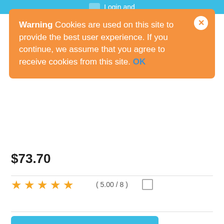Login and
Warning  Cookies are used on this site to provide the best user experience. If you continue, we assume that you agree to receive cookies from this site. OK
$73.70
[Figure (other): Five orange star rating icons]
( 5.00 / 8 )
[Figure (other): Google Ecommerce V4 product card with chart icon and text: Advanced features of Google Analytics 4 for your store]
Full Google Ecommerce GA4